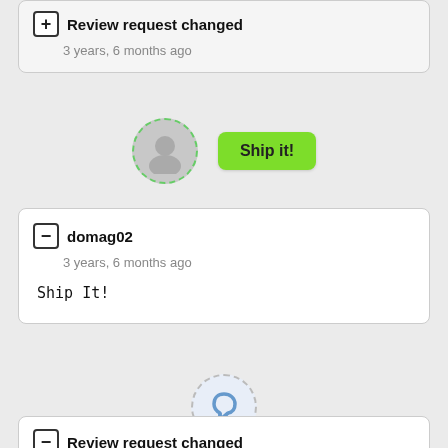Review request changed
3 years, 6 months ago
[Figure (illustration): Gray avatar circle with green dashed border, next to a green 'Ship it!' button]
domag02
3 years, 6 months ago
Ship It!
[Figure (logo): Blue Review Board logo icon inside a gray dashed circle]
Review request changed